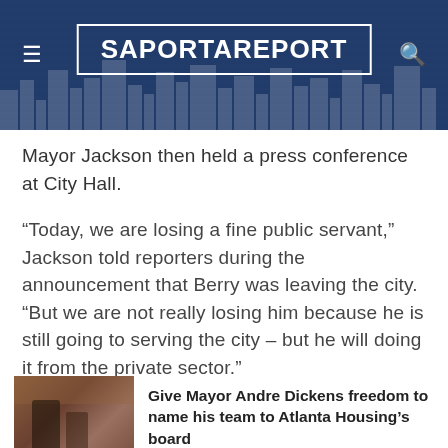SaportaReport
Mayor Jackson then held a press conference at City Hall.
“Today, we are losing a fine public servant,” Jackson told reporters during the announcement that Berry was leaving the city. “But we are not really losing him because he is still going to serving the city – but he will doing it from the private sector.”
Related Stories
[Figure (photo): Photo of people standing in front of a brick wall, related to Atlanta Housing board story]
Give Mayor Andre Dickens freedom to name his team to Atlanta Housing’s board